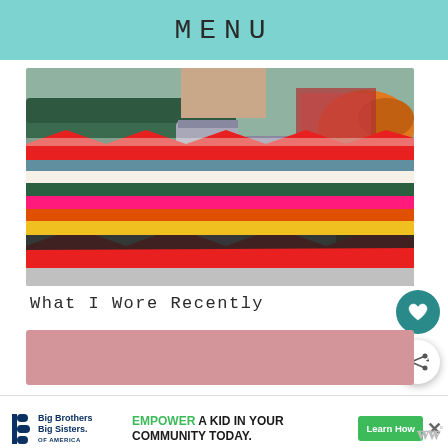MENU
[Figure (photo): Person wearing gray jeans and sandals standing on a colorful zigzag shag rug, with a green sofa visible in the background]
What I Wore Recently
[Figure (screenshot): Pink advertisement banner placeholder]
[Figure (infographic): Advertisement for Big Brothers Big Sisters: EMPOWER A KID IN YOUR COMMUNITY TODAY. Learn How button]